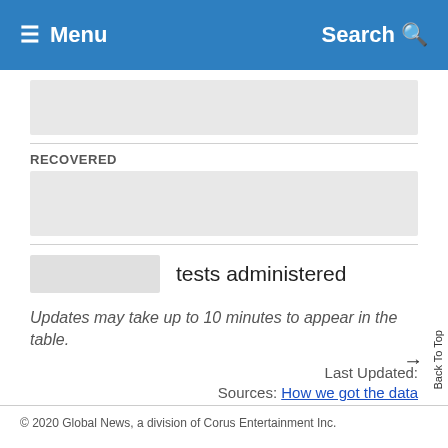Menu  Search
[Figure (other): Gray placeholder block (top)]
RECOVERED
[Figure (other): Gray placeholder block (recovered)]
tests administered
Updates may take up to 10 minutes to appear in the table.
Last Updated:
Sources: How we got the data
Back To Top
© 2020 Global News, a division of Corus Entertainment Inc.